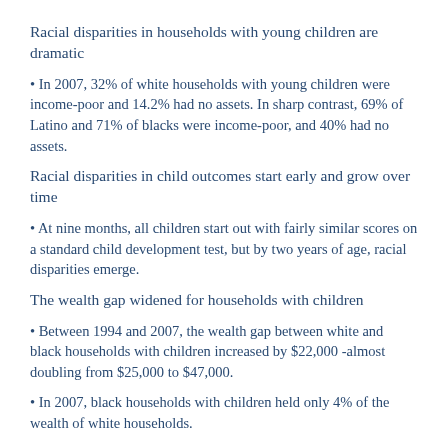Racial disparities in households with young children are dramatic
• In 2007, 32% of white households with young children were income-poor and 14.2% had no assets. In sharp contrast, 69% of Latino and 71% of blacks were income-poor, and 40% had no assets.
Racial disparities in child outcomes start early and grow over time
• At nine months, all children start out with fairly similar scores on a standard child development test, but by two years of age, racial disparities emerge.
The wealth gap widened for households with children
• Between 1994 and 2007, the wealth gap between white and black households with children increased by $22,000 -almost doubling from $25,000 to $47,000.
• In 2007, black households with children held only 4% of the wealth of white households.